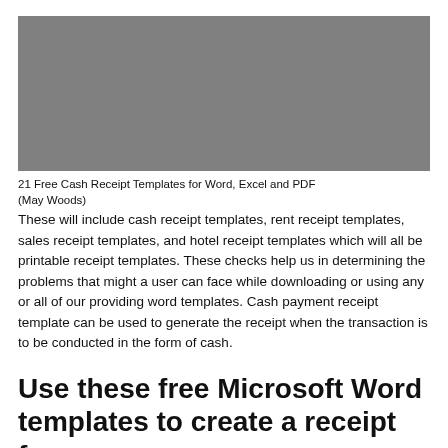[Figure (photo): Gray placeholder image at top of page]
21 Free Cash Receipt Templates for Word, Excel and PDF (May Woods)
These will include cash receipt templates, rent receipt templates, sales receipt templates, and hotel receipt templates which will all be printable receipt templates. These checks help us in determining the problems that might a user can face while downloading or using any or all of our providing word templates. Cash payment receipt template can be used to generate the receipt when the transaction is to be conducted in the form of cash.
Use these free Microsoft Word templates to create a receipt for